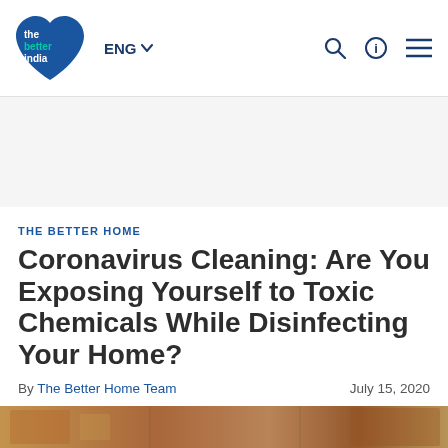the better india — ENG
THE BETTER HOME
Coronavirus Cleaning: Are You Exposing Yourself to Toxic Chemicals While Disinfecting Your Home?
By The Better Home Team — July 15, 2020
[Figure (photo): Article hero image strip showing cleaning-related scene]